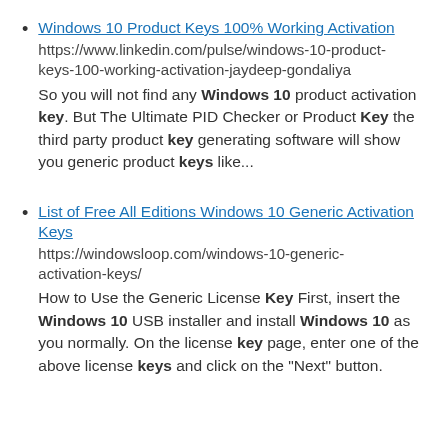Windows 10 Product Keys 100% Working Activation
https://www.linkedin.com/pulse/windows-10-product-keys-100-working-activation-jaydeep-gondaliya
So you will not find any Windows 10 product activation key. But The Ultimate PID Checker or Product Key the third party product key generating software will show you generic product keys like...
List of Free All Editions Windows 10 Generic Activation Keys
https://windowsloop.com/windows-10-generic-activation-keys/
How to Use the Generic License Key First, insert the Windows 10 USB installer and install Windows 10 as you normally. On the license key page, enter one of the above license keys and click on the “Next” button.